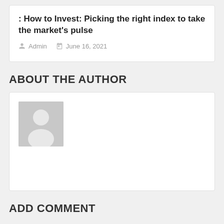: How to Invest: Picking the right index to take the market's pulse
Admin  June 16, 2021
ABOUT THE AUTHOR
[Figure (photo): Default grey avatar placeholder image showing a silhouette of a person]
ADD COMMENT